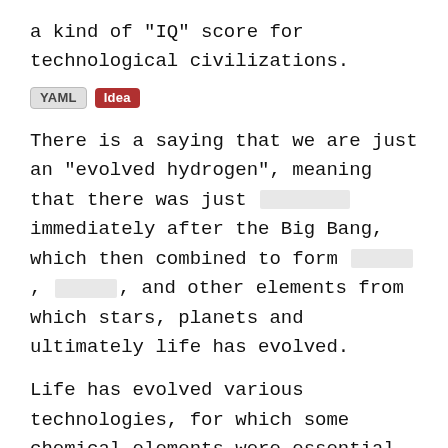a kind of "IQ" score for technological civilizations.
[YAML] [Idea]
There is a saying that we are just an "evolved hydrogen", meaning that there was just [blank] immediately after the Big Bang, which then combined to form [blank], [blank], and other elements from which stars, planets and ultimately life has evolved.
Life has evolved various technologies, for which some chemical elements were essential or helped a lot.